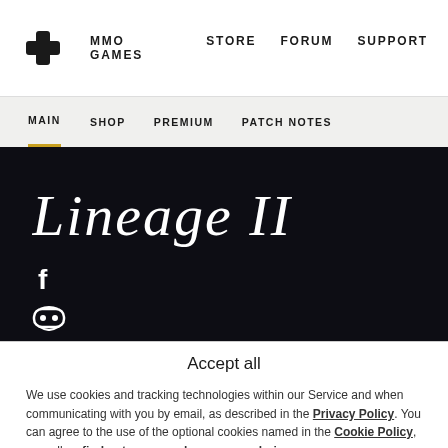Logo | MMO GAMES  STORE  FORUM  SUPPORT
MAIN  SHOP  PREMIUM  PATCH NOTES
[Figure (logo): Lineage II game logo in white text on dark background]
[Figure (illustration): Social media icons: Facebook, Discord, and partially visible third icon on dark background]
Accept all
We use cookies and tracking technologies within our Service and when communicating with you by email, as described in the Privacy Policy. You can agree to the use of the optional cookies named in the Cookie Policy, as well as find out more or change your choice.
Accept all